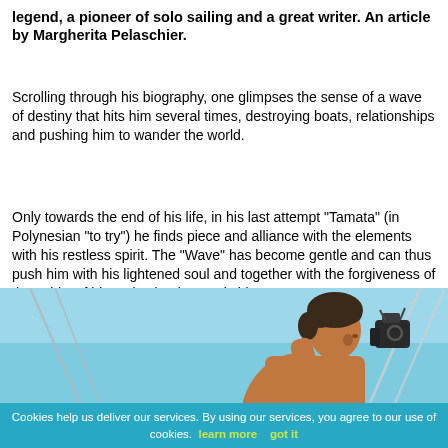legend, a pioneer of solo sailing and a great writer. An article by Margherita Pelaschier.
Scrolling through his biography, one glimpses the sense of a wave of destiny that hits him several times, destroying boats, relationships and pushing him to wander the world.
Only towards the end of his life, in his last attempt "Tamata" (in Polynesian "to try") he finds piece and alliance with the elements with his restless spirit. The "Wave" has become gentle and can thus push him with his lightened soul and together with the forgiveness of the spirits of his native land towards his Last Journey.
[Figure (photo): A shirtless man with curly hair looking through a nautical sextant on a sailboat, blue sky and rigging cables visible in background.]
Cookies help us deliver our services. By using our services, you agree to our use of cookies. learn more   got it